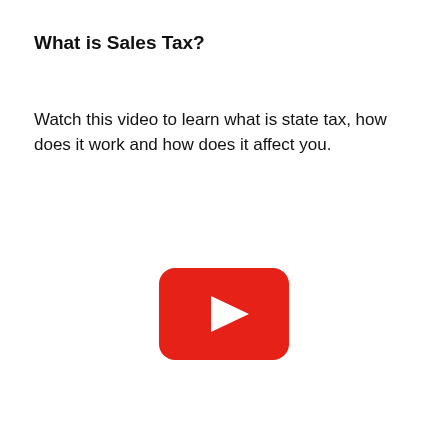What is Sales Tax?
Watch this video to learn what is state tax, how does it work and how does it affect you.
[Figure (other): YouTube play button icon — red rounded rectangle with white triangle play arrow in center]